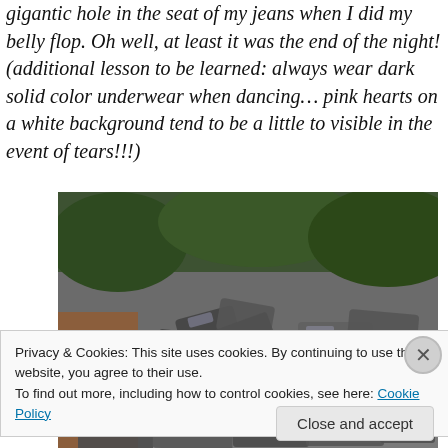gigantic hole in the seat of my jeans when I did my belly flop. Oh well, at least it was the end of the night! (additional lesson to be learned: always wear dark solid color underwear when dancing… pink hearts on a white background tend to be a little to visible in the event of tears!!!)
[Figure (photo): Aerial view of a large multi-car pile-up on a highway or road, with numerous vehicles crashed and piled together. Green vegetation and a road are visible in the background.]
Privacy & Cookies: This site uses cookies. By continuing to use this website, you agree to their use.
To find out more, including how to control cookies, see here: Cookie Policy